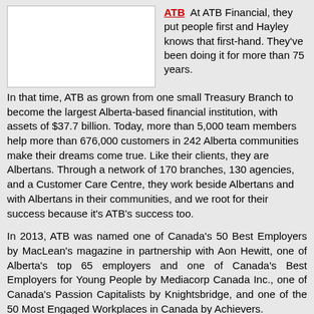[Figure (logo): ATB Financial logo placeholder image box (white rectangle with border)]
ATB At ATB Financial, they put people first and Hayley knows that first-hand. They've been doing it for more than 75 years. In that time, ATB as grown from one small Treasury Branch to become the largest Alberta-based financial institution, with assets of $37.7 billion. Today, more than 5,000 team members help more than 676,000 customers in 242 Alberta communities make their dreams come true. Like their clients, they are Albertans. Through a network of 170 branches, 130 agencies, and a Customer Care Centre, they work beside Albertans and with Albertans in their communities, and we root for their success because it's ATB's success too.
In 2013, ATB was named one of Canada's 50 Best Employers by MacLean's magazine in partnership with Aon Hewitt, one of Alberta's top 65 employers and one of Canada's Best Employers for Young People by Mediacorp Canada Inc., one of Canada's Passion Capitalists by Knightsbridge, and one of the 50 Most Engaged Workplaces in Canada by Achievers.
[Figure (logo): Maple Leaf Foods logo with red maple leaf and blue banner reading MAPLE]
Maple Leaf Foods Maple Leaf Foods is committed to being Canada's #1 packaged meats provider. They are passionate people who are passionate about food. Maple Leaf f...